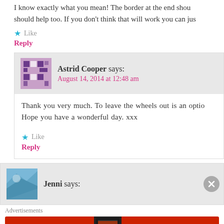I know exactly what you mean! The border at the end shou... should help too. If you don't think that will work you can jus...
★ Like
Reply
Astrid Cooper says: August 14, 2014 at 12:48 am
Thank you very much. To leave the wheels out is an optio... Hope you have a wonderful day. xxx
★ Like
Reply
Jenni says:
[Figure (infographic): Advertisement banner: red background with 'An app by listeners, for listeners.' text and Pocket Casts logo with phone graphic]
Advertisements